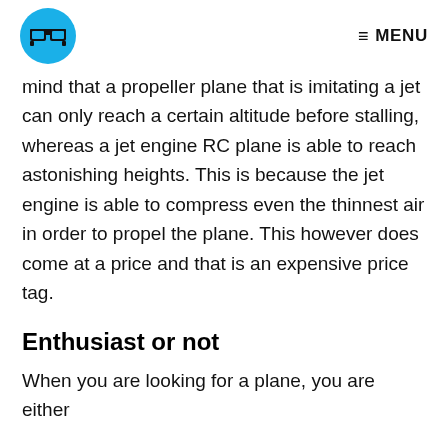≡ MENU
mind that a propeller plane that is imitating a jet can only reach a certain altitude before stalling, whereas a jet engine RC plane is able to reach astonishing heights. This is because the jet engine is able to compress even the thinnest air in order to propel the plane. This however does come at a price and that is an expensive price tag.
Enthusiast or not
When you are looking for a plane, you are either